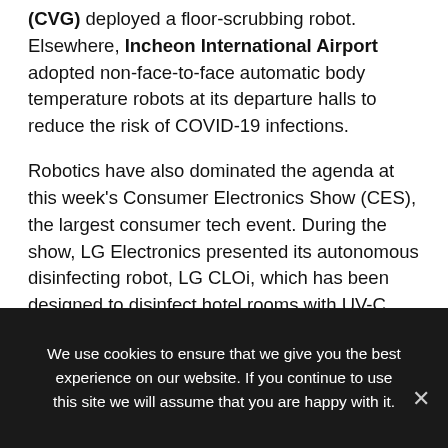(CVG) deployed a floor-scrubbing robot. Elsewhere, Incheon International Airport adopted non-face-to-face automatic body temperature robots at its departure halls to reduce the risk of COVID-19 infections.
Robotics have also dominated the agenda at this week's Consumer Electronics Show (CES), the largest consumer tech event. During the show, LG Electronics presented its autonomous disinfecting robot, LG CLOi, which has been designed to disinfect hotel rooms with UV-C light, and could also have applications beyond hotels, including for instance airport terminals.
In other news, last summer AirAsia announced that it
We use cookies to ensure that we give you the best experience on our website. If you continue to use this site we will assume that you are happy with it.